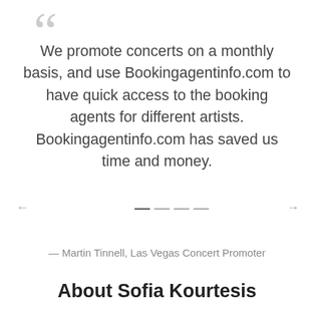““
We promote concerts on a monthly basis, and use Bookingagentinfo.com to have quick access to the booking agents for different artists. Bookingagentinfo.com has saved us time and money.
— Martin Tinnell, Las Vegas Concert Promoter
[Figure (other): Carousel navigation with left arrow, four dashes (navigation dots/lines), and right arrow]
About Sofia Kourtesis